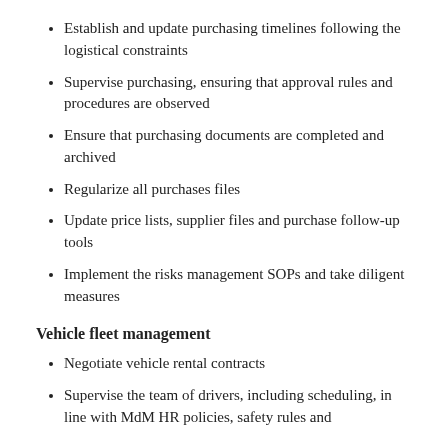Establish and update purchasing timelines following the logistical constraints
Supervise purchasing, ensuring that approval rules and procedures are observed
Ensure that purchasing documents are completed and archived
Regularize all purchases files
Update price lists, supplier files and purchase follow-up tools
Implement the risks management SOPs and take diligent measures
Vehicle fleet management
Negotiate vehicle rental contracts
Supervise the team of drivers, including scheduling, in line with MdM HR policies, safety rules and